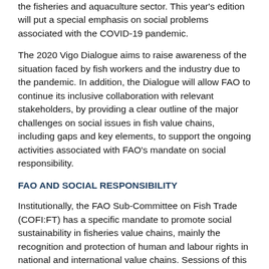the fisheries and aquaculture sector. This year's edition will put a special emphasis on social problems associated with the COVID-19 pandemic.
The 2020 Vigo Dialogue aims to raise awareness of the situation faced by fish workers and the industry due to the pandemic. In addition, the Dialogue will allow FAO to continue its inclusive collaboration with relevant stakeholders, by providing a clear outline of the major challenges on social issues in fish value chains, including gaps and key elements, to support the ongoing activities associated with FAO's mandate on social responsibility.
FAO AND SOCIAL RESPONSIBILITY
Institutionally, the FAO Sub-Committee on Fish Trade (COFI:FT) has a specific mandate to promote social sustainability in fisheries value chains, mainly the recognition and protection of human and labour rights in national and international value chains. Sessions of this Sub-Committee, with the participation of all FAO Member countries, take place every two years.
In 2017, during the COFI:FT Session in Busan, FAO Member countries recognized the complexity of addressing social issues relative to human and labour rights in fisheries value chains, recommending that FAO collaborate with interested partner organizations and stakeholders to develop a guidance document to assist fish value